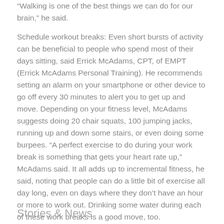“Walking is one of the best things we can do for our brain,” he said.
Schedule workout breaks: Even short bursts of activity can be beneficial to people who spend most of their days sitting, said Errick McAdams, CPT, of EMPT (Errick McAdams Personal Training). He recommends setting an alarm on your smartphone or other device to go off every 30 minutes to alert you to get up and move. Depending on your fitness level, McAdams suggests doing 20 chair squats, 100 jumping jacks, running up and down some stairs, or even doing some burpees. “A perfect exercise to do during your work break is something that gets your heart rate up,” McAdams said. It all adds up to incremental fitness, he said, noting that people can do a little bit of exercise all day long, even on days where they don’t have an hour or more to work out. Drinking some water during each of these work breaks is a good move, too.
Stories & News